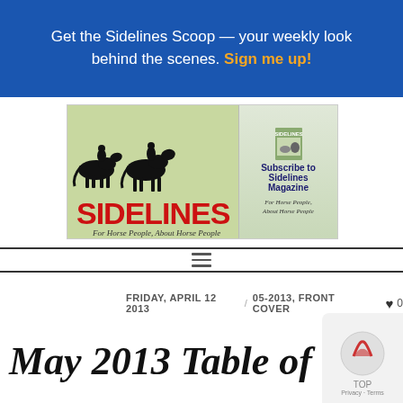Get the Sidelines Scoop — your weekly look behind the scenes. Sign me up!
[Figure (logo): Sidelines Magazine logo banner with horse silhouettes and tagline 'For Horse People, About Horse People', plus subscription box on right]
FRIDAY, APRIL 12 2013 / 05-2013, FRONT COVER ♥ 0
May 2013 Table of